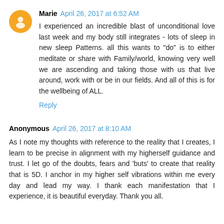Marie April 26, 2017 at 6:52 AM
I experienced an incredible blast of unconditional love last week and my body still integrates - lots of sleep in new sleep Patterns. all this wants to "do" is to either meditate or share with Family/world, knowing very well we are ascending and taking those with us that live around, work with or be in our fields. And all of this is for the wellbeing of ALL.
Reply
Anonymous April 26, 2017 at 8:10 AM
As I note my thoughts with reference to the reality that I creates, I learn to be precise in alignment with my higherself guidance and trust. I let go of the doubts, fears and 'buts' to create that reality that is 5D. I anchor in my higher self vibrations within me every day and lead my way. I thank each manifestation that I experience, it is beautiful everyday. Thank you all.